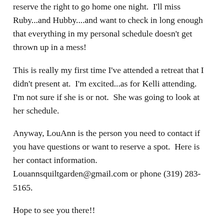reserve the right to go home one night.  I'll miss Ruby...and Hubby....and want to check in long enough that everything in my personal schedule doesn't get thrown up in a mess!
This is really my first time I've attended a retreat that I didn't present at.  I'm excited...as for Kelli attending.  I'm not sure if she is or not.  She was going to look at her schedule.
Anyway, LouAnn is the person you need to contact if you have questions or want to reserve a spot.  Here is her contact information.  Louannsquiltgarden@gmail.com or phone (319) 283-5165.
Hope to see you there!!
Like this:
Like
Be the first to like this.